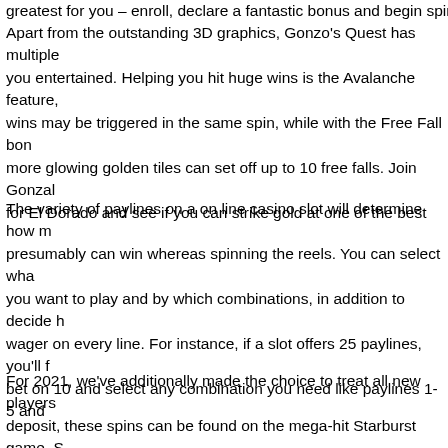greatest for you – enroll, declare a fantastic bonus and begin spinning
Apart from the outstanding 3D graphics, Gonzo's Quest has multiple you entertained. Helping you hit huge wins is the Avalanche feature, wins may be triggered in the same spin, while with the Free Fall bon more glowing golden tiles can set off up to 10 free falls. Join Gonzal for El Dorado and see if you can strike gold at one of the best on-line proper right here on playing.com.
The variety of paylines on a on line casino slot will determine how m presumably can win whereas spinning the reels. You can select wha you want to play and by which combinations, in addition to decide h wager on every line. For instance, if a slot offers 25 paylines, you'll f bet on 10 and select any combination you need like paylines 1-5 and via our list, we needed to have NetEnt's first platinum slot. Follow th Spanish conquistador Gonzalo Pizarro on his quest to find the legen Dorado.
For 2021, we've additionally made the choice to treat all new players deposit, these spins can be found on the mega-hit Starburst game. S regulated by each the UK Gambling Commission and the Alderney G Commission. In addition to over 600 feature-rich on line casino video discover a welcome bonus, every day cashback, reload bonuses, ar for all our members, demo mode is a spectacular alternative to dem out putting a wager. Simply hover over your game of selection and